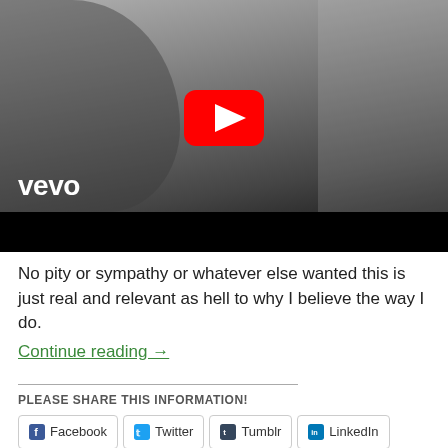[Figure (screenshot): YouTube video thumbnail with Vevo branding showing a black-and-white photo of a person wearing a beanie, with a red YouTube play button overlay and a black bar at the bottom.]
No pity or sympathy or whatever else wanted this is just real and relevant as hell to why I believe the way I do.
Continue reading →
PLEASE SHARE THIS INFORMATION!
Facebook  Twitter  Tumblr  LinkedIn  Pocket  Pinterest  Email  Reddit  WhatsApp  Skype